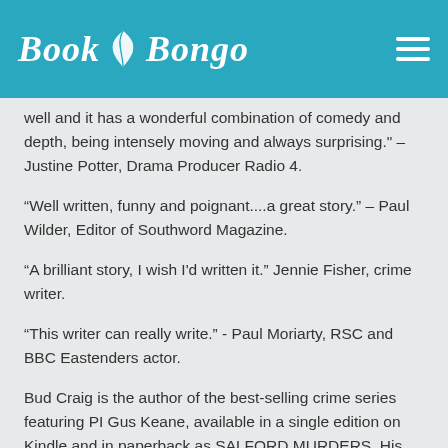Book Bongo
well and it has a wonderful combination of comedy and depth, being intensely moving and always surprising." – Justine Potter, Drama Producer Radio 4.
"Well written, funny and poignant....a great story." – Paul Wilder, Editor of Southword Magazine.
"A brilliant story, I wish I'd written it." Jennie Fisher, crime writer.
"This writer can really write." - Paul Moriarty, RSC and BBC Eastenders actor.
Bud Craig is the author of the best-selling crime series featuring PI Gus Keane, available in a single edition on Kindle and in paperback as SALFORD MURDERS. His